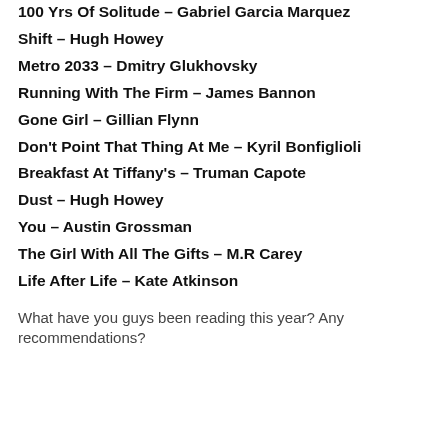100 Yrs Of Solitude – Gabriel Garcia Marquez
Shift – Hugh Howey
Metro 2033 – Dmitry Glukhovsky
Running With The Firm – James Bannon
Gone Girl – Gillian Flynn
Don't Point That Thing At Me – Kyril Bonfiglioli
Breakfast At Tiffany's – Truman Capote
Dust – Hugh Howey
You – Austin Grossman
The Girl With All The Gifts – M.R Carey
Life After Life – Kate Atkinson
What have you guys been reading this year? Any recommendations?